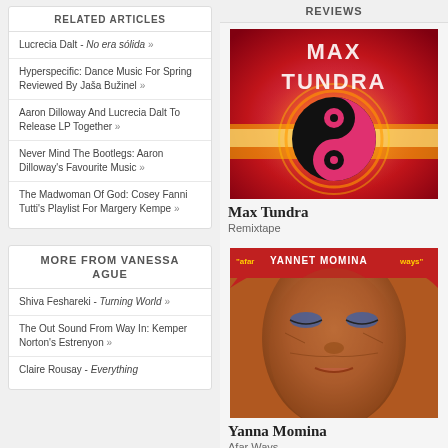RELATED ARTICLES
Lucrecia Dalt - No era sólida »
Hyperspecific: Dance Music For Spring Reviewed By Jaša Bužinel »
Aaron Dilloway And Lucrecia Dalt To Release LP Together »
Never Mind The Bootlegs: Aaron Dilloway's Favourite Music »
The Madwoman Of God: Cosey Fanni Tutti's Playlist For Margery Kempe »
MORE FROM VANESSA AGUE
Shiva Feshareki - Turning World »
The Out Sound From Way In: Kemper Norton's Estrenyon »
Claire Rousay - Everything
REVIEWS
[Figure (photo): Max Tundra Remixtape album cover - abstract glowing yin-yang on red/orange background with 'Max Tundra' text]
Max Tundra
Remixtape
[Figure (photo): Yanna Momina Afar Ways album cover - close up portrait of an elderly African woman wearing red/orange traditional clothing]
Yanna Momina
Afar Ways